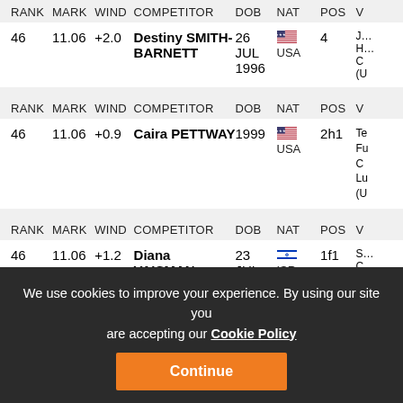| RANK | MARK | WIND | COMPETITOR | DOB | NAT | POS | V |
| --- | --- | --- | --- | --- | --- | --- | --- |
| 46 | 11.06 | +2.0 | Destiny SMITH-BARNETT | 26 JUL 1996 | USA | 4 |  |
| RANK | MARK | WIND | COMPETITOR | DOB | NAT | POS | V |
| --- | --- | --- | --- | --- | --- | --- | --- |
| 46 | 11.06 | +0.9 | Caira PETTWAY | 1999 | USA | 2h1 |  |
| RANK | MARK | WIND | COMPETITOR | DOB | NAT | POS | V |
| --- | --- | --- | --- | --- | --- | --- | --- |
| 46 | 11.06 | +1.2 | Diana VAISMAN | 23 JUL | ISR | 1f1 |  |
We use cookies to improve your experience. By using our site you are accepting our Cookie Policy